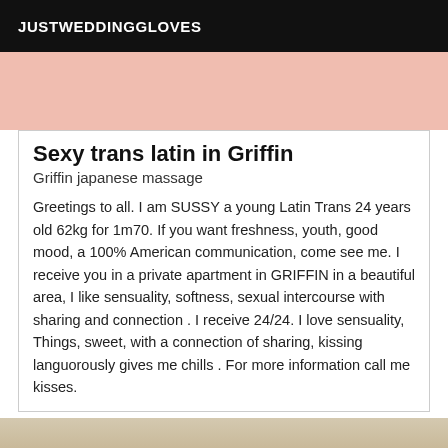JUSTWEDDINGGLOVES
[Figure (photo): Top portion of a photo showing a person lying on a pink background]
Sexy trans latin in Griffin
Griffin japanese massage
Greetings to all. I am SUSSY a young Latin Trans 24 years old 62kg for 1m70. If you want freshness, youth, good mood, a 100% American communication, come see me. I receive you in a private apartment in GRIFFIN in a beautiful area, I like sensuality, softness, sexual intercourse with sharing and connection . I receive 24/24. I love sensuality, Things, sweet, with a connection of sharing, kissing languorously gives me chills . For more information call me kisses.
[Figure (photo): Bottom portion showing a person with blonde hair lying on a bed wearing black lingerie]